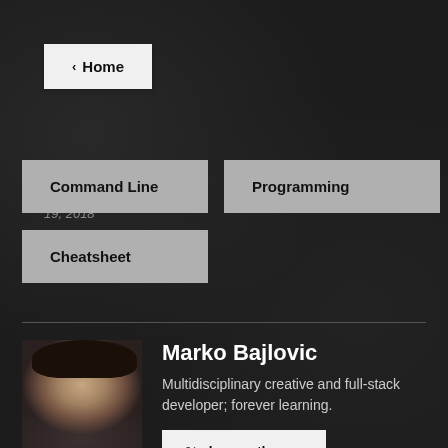< Home
Published December 19, 2018
Command Line
Programming
Cheatsheet
[Figure (photo): Portrait photo of Marko Bajlovic, a young man with dark hair and mustache]
Marko Bajlovic
Multidisciplinary creative and full-stack developer; forever learning.
desmosthenes